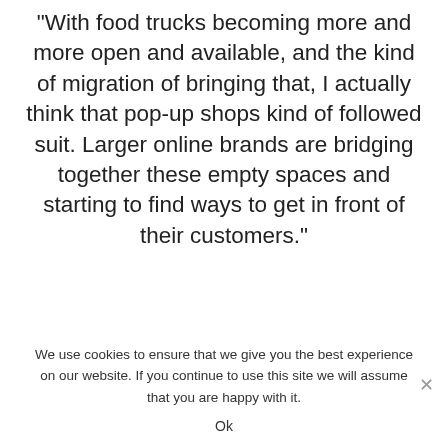“With food trucks becoming more and more open and available, and the kind of migration of bringing that, I actually think that pop-up shops kind of followed suit. Larger online brands are bridging together these empty spaces and starting to find ways to get in front of their customers.”
NPR
We use cookies to ensure that we give you the best experience on our website. If you continue to use this site we will assume that you are happy with it.
Ok